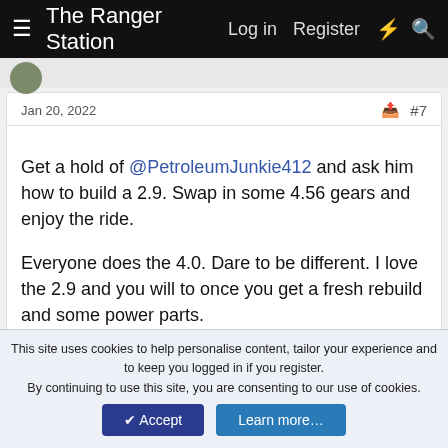The Ranger Station  Log in  Register
Jan 20, 2022  #7
Get a hold of @PetroleumJunkie412 and ask him how to build a 2.9. Swap in some 4.56 gears and enjoy the ride.

Everyone does the 4.0. Dare to be different. I love the 2.9 and you will to once you get a fresh rebuild and some power parts.

Oh and one tip....swap in the 4.0 radiator (it bolts in)...the 2.9 is a tough little bastard but you have to keep it cool.
😂 85_Ranger4x4 and fastpakr
This site uses cookies to help personalise content, tailor your experience and to keep you logged in if you register.
By continuing to use this site, you are consenting to our use of cookies.